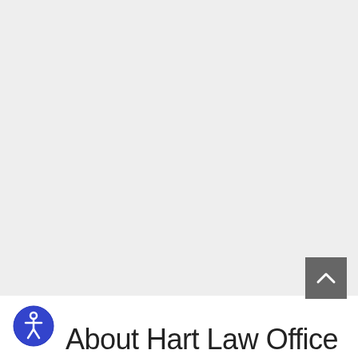[Figure (other): Back to top arrow button — dark grey square button with white upward-pointing chevron/arrow]
[Figure (other): Accessibility icon — blue circle with white human figure symbol (wheelchair/person icon)]
About Hart Law Office